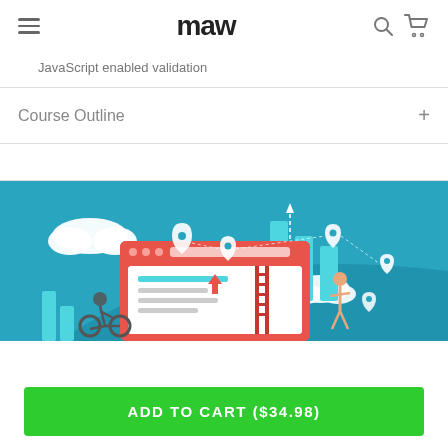maw
JavaScript enabled validation
Course Outline
[Figure (illustration): E-learning or web development course illustration with a red browser window, people, bar charts, clouds, and location pins on a blue background]
ADD TO CART ($34.98)